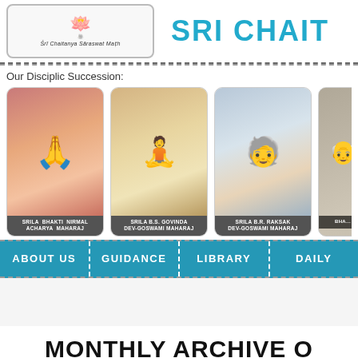[Figure (logo): Sri Chaitanya Saraswat Math logo with lotus flower and elephant]
SRI CHAIT...
Our Disciplic Succession:
[Figure (photo): Four photos of spiritual leaders in disciplic succession: Srila Bhakti Nirmal Acharya Maharaj, Srila B.S. Govinda Dev-Goswami Maharaj, Srila B.R. Raksak Dev-Goswami Maharaj, and a fourth partially visible]
ABOUT US
GUIDANCE
LIBRARY
DAILY
MONTHLY ARCHIVE O...